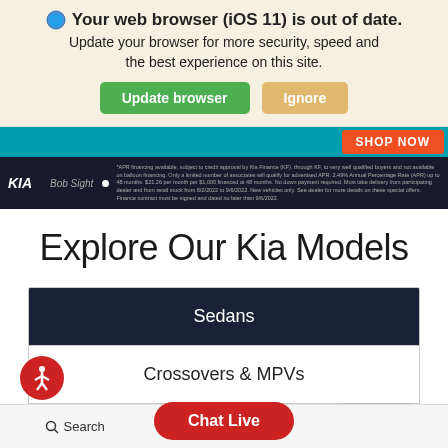🌐 Your web browser (iOS 11) is out of date. Update your browser for more security, speed and the best experience on this site.
Update browser | Ignore
[Figure (screenshot): Teal banner strip with orange SHOP NOW button on the right]
[Figure (screenshot): Dark Kia dealership footer bar with KIA logo, Bob Sight text, and fine print disclaimer]
Explore Our Kia Models
Sedans
Crossovers & MPVs
Compacts
Chat Live
Text Us
Search   Saved   (more options)